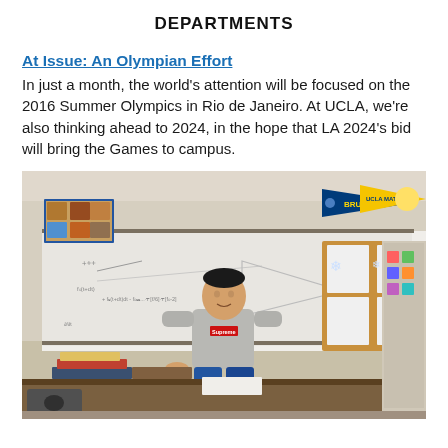DEPARTMENTS
At Issue: An Olympian Effort
In just a month, the world's attention will be focused on the 2016 Summer Olympics in Rio de Janeiro. At UCLA, we're also thinking ahead to 2024, in the hope that LA 2024's bid will bring the Games to campus.
[Figure (photo): A young man in a grey Supreme sweatshirt stands in front of a whiteboard covered in math equations, in a classroom decorated with UCLA Bruins pennants, colorful artwork, and a bulletin board with student drawings.]